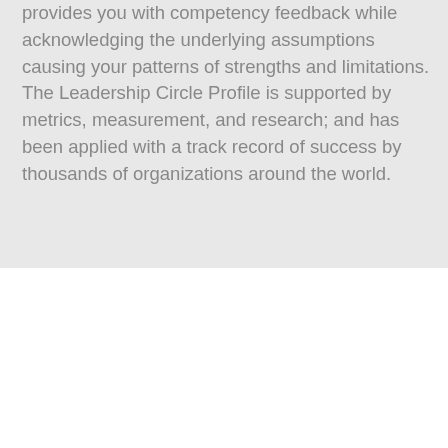provides you with competency feedback while acknowledging the underlying assumptions causing your patterns of strengths and limitations. The Leadership Circle Profile is supported by metrics, measurement, and research; and has been applied with a track record of success by thousands of organizations around the world.
The Enneagram™
The Enneagram is a highly sophisticated system of